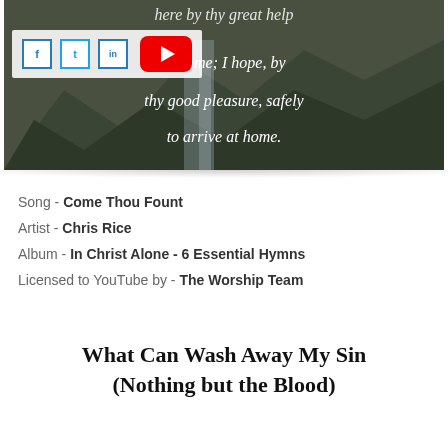[Figure (screenshot): YouTube video thumbnail showing hymn lyrics over a rocky waterfall background with social share buttons (Facebook, Twitter, LinkedIn) and a YouTube play button overlay. Lyrics read: 'here by thy great help to come; I hope, by thy good pleasure, safely to arrive at home.']
Song - Come Thou Fount
Artist - Chris Rice
Album - In Christ Alone - 6 Essential Hymns
Licensed to YouTube by - The Worship Team
What Can Wash Away My Sin (Nothing but the Blood)